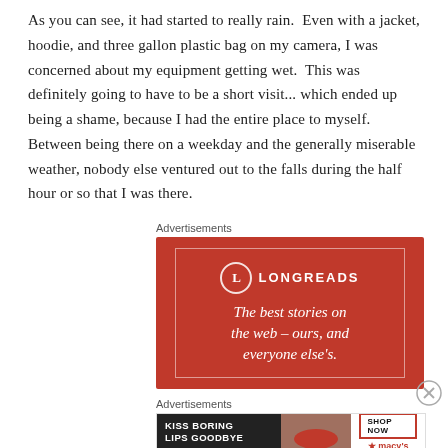As you can see, it had started to really rain.  Even with a jacket, hoodie, and three gallon plastic bag on my camera, I was concerned about my equipment getting wet.  This was definitely going to have to be a short visit... which ended up being a shame, because I had the entire place to myself.  Between being there on a weekday and the generally miserable weather, nobody else ventured out to the falls during the half hour or so that I was there.
Advertisements
[Figure (other): LONGREADS advertisement with red background and white text reading 'The best stories on the web – ours, and everyone else's.' with a circular L logo.]
Advertisements
[Figure (other): Macy's advertisement with dark background on left reading 'KISS BORING LIPS GOODBYE' and SHOP NOW button with Macy's star logo on right.]